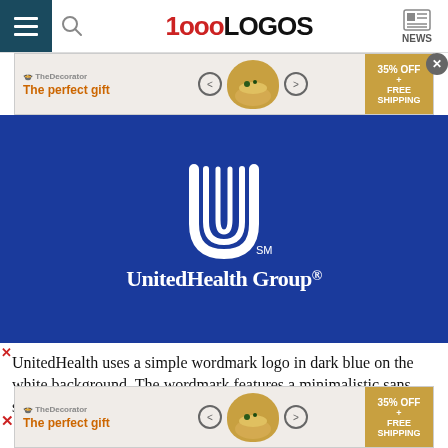1000LOGOS NEWS
[Figure (screenshot): Advertisement banner: 'The perfect gift' with bowl image and '35% OFF + FREE SHIPPING' gold badge]
[Figure (logo): UnitedHealth Group logo on dark blue background — stylized U symbol with parallel lines and 'UnitedHealth Group' wordmark in white serif font with registered trademark symbol. SM superscript mark below the U symbol.]
UnitedHealth uses a simple wordmark logo in dark blue on the white background. The wordmark features a minimalistic sans serif font.
[Figure (screenshot): Advertisement banner (bottom): 'The perfect gift' with bowl image and '35% OFF + FREE SHIPPING' gold badge]